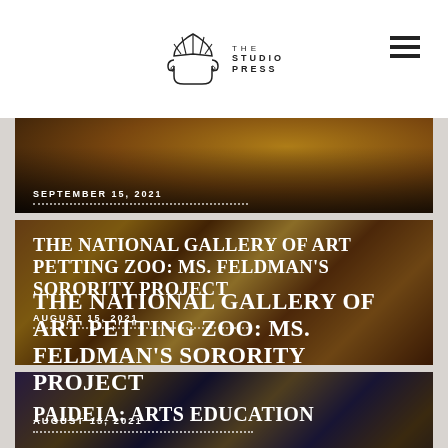THE STUDIO PRESS
[Figure (photo): Partial view of an article card showing a ceramic bowl on dark background, dated September 15, 2021]
SEPTEMBER 15, 2021
THE NATIONAL GALLERY OF ART PETTING ZOO: MS. FELDMAN'S SORORITY PROJECT
AUGUST 15, 2021
PAIDEIA: ARTS EDUCATION
AUGUST 1, 2021
THE CLASSIVE TRADITION: